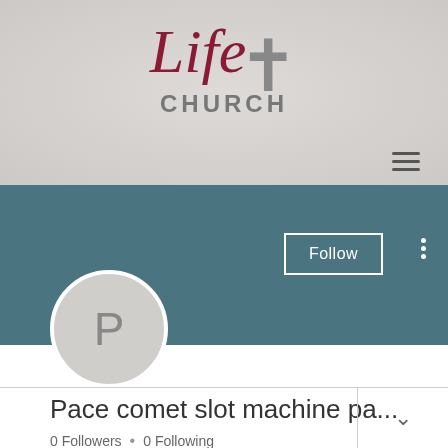[Figure (logo): Life Church logo with cursive red 'Life' text, a gray cross symbol, and 'CHURCH' in gray bold caps beneath]
[Figure (screenshot): Social media profile page on Life Church website showing a teal banner, a gray avatar circle with letter P, a Follow button, and three-dot menu icon]
Pace comet slot machine pa...
0 Followers • 0 Following